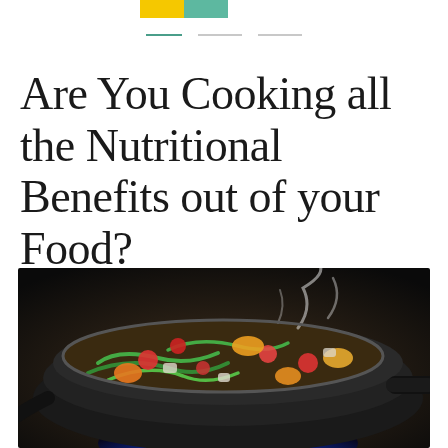Are You Cooking all the Nutritional Benefits out of your Food?
[Figure (photo): Close-up photo of colorful vegetables including green beans, tomatoes, and peppers being stir-fried in a black wok pan over a blue gas flame, with steam rising.]